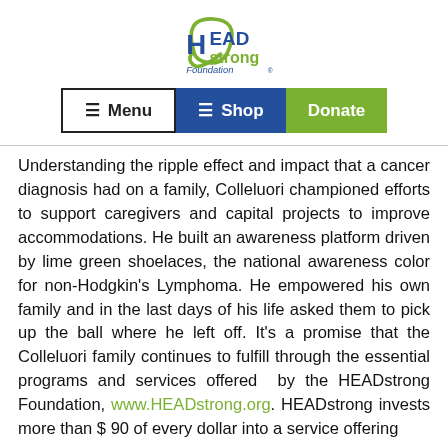[Figure (logo): HEADstrong Foundation logo with green ribbon and text]
≡ Menu  ≡ Shop  Donate
Understanding the ripple effect and impact that a cancer diagnosis had on a family, Colleluori championed efforts to support caregivers and capital projects to improve accommodations. He built an awareness platform driven by lime green shoelaces, the national awareness color for non-Hodgkin's Lymphoma. He empowered his own family and in the last days of his life asked them to pick up the ball where he left off. It's a promise that the Colleluori family continues to fulfill through the essential programs and services offered by the HEADstrong Foundation, www.HEADstrong.org. HEADstrong invests more than $90 of every dollar into a service offering